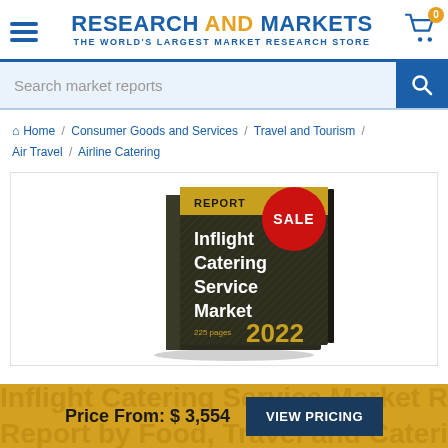RESEARCH AND MARKETS - THE WORLD'S LARGEST MARKET RESEARCH STORE
Search market reports
Home / Consumer Goods and Services / Travel and Tourism / Air Travel / Airline Catering
[Figure (photo): Book cover for Inflight Catering Service Market report 2022, 225 pages, with a SALE badge]
Price From: $ 3,554   VIEW PRICING